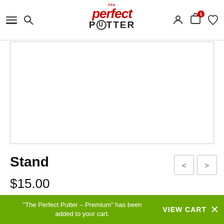The Perfect Putter - navigation header with logo, search, cart, and wishlist icons
[Figure (other): Product image placeholder area - white box with border]
Stand
$15.00
The stand provides enhanced lateral stability to The Perfect Putter, particularly when using the long range set. Manufactured 100% with the highest quality non-corrosive 316 stainless steel.
"The Perfect Putter – Premium" has been added to your cart. VIEW CART